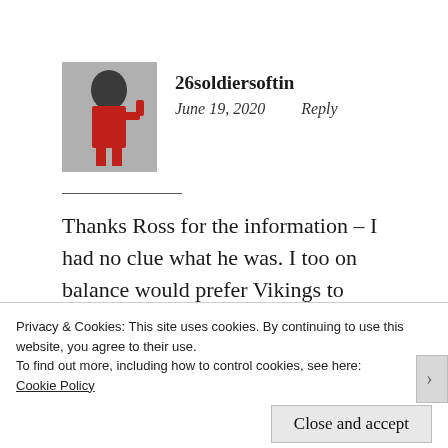[Figure (photo): Avatar photo of user '26soldiersoftin' showing a small figurine of a soldier in red uniform with black helmet, saluting.]
26soldiersoftin
June 19, 2020    Reply
Thanks Ross for the information – I had no clue what he was. I too on balance would prefer Vikings to knights. I have a few of the attractive 54mm Timpo Vikings as well.
Privacy & Cookies: This site uses cookies. By continuing to use this website, you agree to their use.
To find out more, including how to control cookies, see here:
Cookie Policy
Close and accept